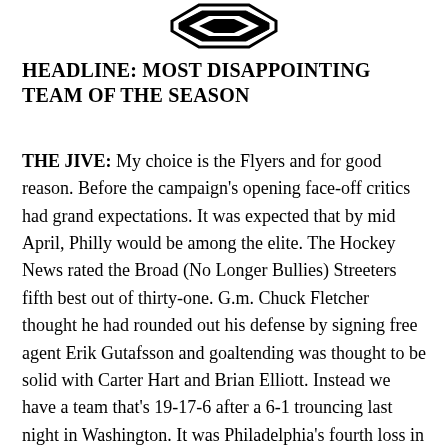[Figure (logo): Octagonal logo/emblem in black and white at the top of the page]
HEADLINE: MOST DISAPPOINTING TEAM OF THE SEASON
THE JIVE: My choice is the Flyers and for good reason. Before the campaign's opening face-off critics had grand expectations. It was expected that by mid April, Philly would be among the elite. The Hockey News rated the Broad (No Longer Bullies) Streeters fifth best out of thirty-one. G.m. Chuck Fletcher thought he had rounded out his defense by signing free agent Erik Gutafsson and goaltending was thought to be solid with Carter Hart and Brian Elliott. Instead we have a team that's 19-17-6 after a 6-1 trouncing last night in Washington. It was Philadelphia's fourth loss in the last five games. Goaltending has failed; the defense never